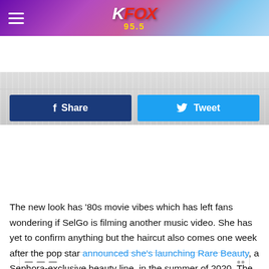KFOX 95.5
[Figure (photo): Cropped photo showing a white knit sweater, partial view]
f  Share
Tweet
7,058,843 likes
Add a comment...
The new look has '80s movie vibes which has left fans wondering if SelGo is filming another music video. She has yet to confirm anything but the haircut also comes one week after the pop star announced she's launching Rare Beauty, a Sephora-exclusive beauty line, in the summer of 2020. The line is named after Gomez's latest album Rare and is meant